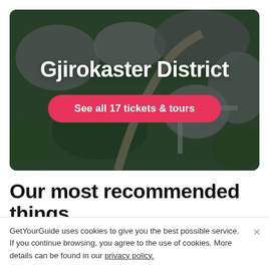[Figure (photo): Aerial photograph of Gjirokaster District showing stone rooftops, winding roads, fortified walls, and surrounding green vegetation. Dark overlay with white title text and a pink/red CTA button overlaid.]
Gjirokaster District
See all 17 tickets & tours
Our most recommended things
GetYourGuide uses cookies to give you the best possible service. If you continue browsing, you agree to the use of cookies. More details can be found in our privacy policy.